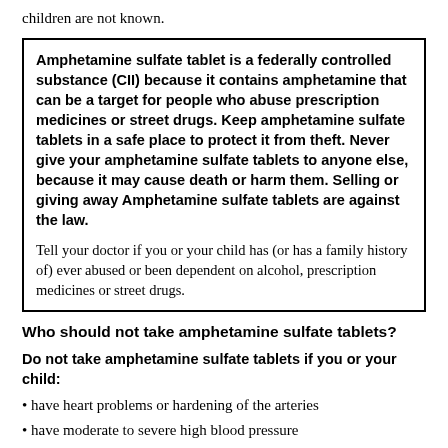children are not known.
Amphetamine sulfate tablet is a federally controlled substance (CII) because it contains amphetamine that can be a target for people who abuse prescription medicines or street drugs. Keep amphetamine sulfate tablets in a safe place to protect it from theft. Never give your amphetamine sulfate tablets to anyone else, because it may cause death or harm them. Selling or giving away Amphetamine sulfate tablets are against the law.

Tell your doctor if you or your child has (or has a family history of) ever abused or been dependent on alcohol, prescription medicines or street drugs.
Who should not take amphetamine sulfate tablets?
Do not take amphetamine sulfate tablets if you or your child:
• have heart problems or hardening of the arteries
• have moderate to severe high blood pressure